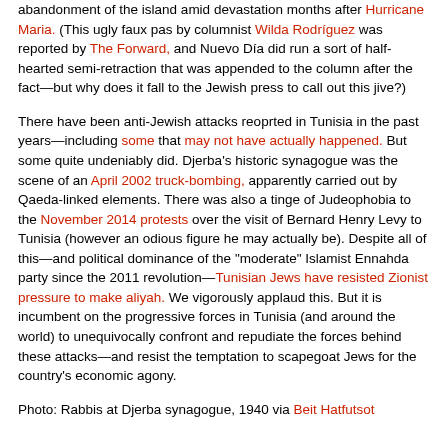abandonment of the island amid devastation months after Hurricane Maria. (This ugly faux pas by columnist Wilda Rodríguez was reported by The Forward, and Nuevo Día did run a sort of half-hearted semi-retraction that was appended to the column after the fact—but why does it fall to the Jewish press to call out this jive?)
There have been anti-Jewish attacks reoprted in Tunisia in the past years—including some that may not have actually happened. But some quite undeniably did. Djerba's historic synagogue was the scene of an April 2002 truck-bombing, apparently carried out by Qaeda-linked elements. There was also a tinge of Judeophobia to the November 2014 protests over the visit of Bernard Henry Levy to Tunisia (however an odious figure he may actually be). Despite all of this—and political dominance of the "moderate" Islamist Ennahda party since the 2011 revolution—Tunisian Jews have resisted Zionist pressure to make aliyah. We vigorously applaud this. But it is incumbent on the progressive forces in Tunisia (and around the world) to unequivocally confront and repudiate the forces behind these attacks—and resist the temptation to scapegoat Jews for the country's economic agony.
Photo: Rabbis at Djerba synagogue, 1940 via Beit Hatfutsot